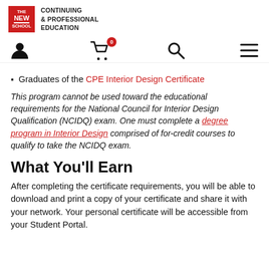THE NEW SCHOOL — CONTINUING & PROFESSIONAL EDUCATION
[Figure (other): Navigation icons: user profile icon, shopping cart icon with badge showing 0, search icon, hamburger menu icon]
Graduates of the CPE Interior Design Certificate
This program cannot be used toward the educational requirements for the National Council for Interior Design Qualification (NCIDQ) exam. One must complete a degree program in Interior Design comprised of for-credit courses to qualify to take the NCIDQ exam.
What You'll Earn
After completing the certificate requirements, you will be able to download and print a copy of your certificate and share it with your network. Your personal certificate will be accessible from your Student Portal.